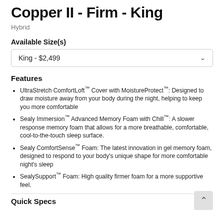Copper II - Firm - King
Hybrid
Available Size(s)
King  -  $2,499
Features
UltraStretch ComfortLoft™ Cover with MoistureProtect™: Designed to draw moisture away from your body during the night, helping to keep you more comfortable
Sealy Immersion™ Advanced Memory Foam with Chill™: A slower response memory foam that allows for a more breathable, comfortable, cool-to-the-touch sleep surface.
Sealy ComfortSense™ Foam: The latest innovation in gel memory foam, designed to respond to your body's unique shape for more comfortable night's sleep
SealySupport™ Foam: High quality firmer foam for a more supportive feel.
Quick Specs